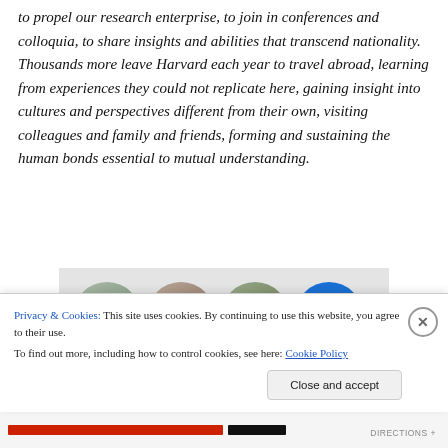to propel our research enterprise, to join in conferences and colloquia, to share insights and abilities that transcend nationality. Thousands more leave Harvard each year to travel abroad, learning from experiences they could not replicate here, gaining insight into cultures and perspectives different from their own, visiting colleagues and family and friends, forming and sustaining the human bonds essential to mutual understanding.
[Figure (photo): Row of circular avatar photos of people partially visible, with a blue circle showing a plus/info icon, against a light gray background]
Privacy & Cookies: This site uses cookies. By continuing to use this website, you agree to their use.
To find out more, including how to control cookies, see here: Cookie Policy
Close and accept
DIRECTIONS +